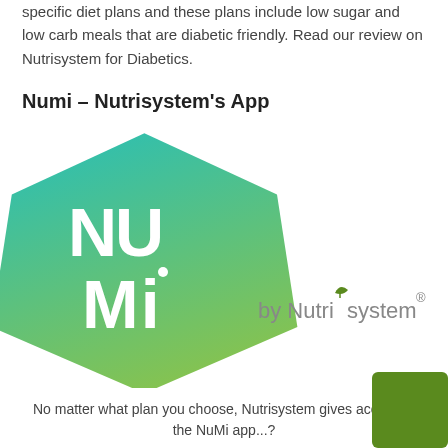specific diet plans and these plans include low sugar and low carb meals that are diabetic friendly. Read our review on Nutrisystem for Diabetics.
Numi – Nutrisystem's App
[Figure (logo): NuMi by Nutrisystem logo — a teal-to-green pentagon-shaped badge with white letters 'NU Mi' and the text 'by Nutrisystem' in gray to the right]
No matter what plan you choose, Nutrisystem gives access to the NuMi app...?